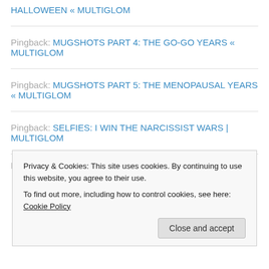HALLOWEEN « MULTIGLOM
Pingback: MUGSHOTS PART 4: THE GO-GO YEARS « MULTIGLOM
Pingback: MUGSHOTS PART 5: THE MENOPAUSAL YEARS « MULTIGLOM
Pingback: SELFIES: I WIN THE NARCISSIST WARS | MULTIGLOM
Privacy & Cookies: This site uses cookies. By continuing to use this website, you agree to their use. To find out more, including how to control cookies, see here: Cookie Policy
Pingback: MUGSHOTS PART 6: THE BELGIUM YEARS |